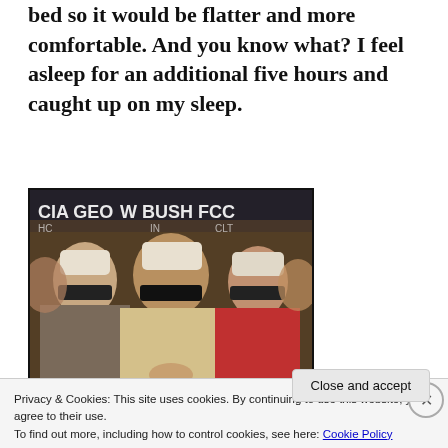bed so it would be flatter and more comfortable. And you know what? I feel asleep for an additional five hours and caught up on my sleep.
[Figure (photo): A painting or artwork showing multiple figures with blindfolds and gags, with text in the background reading 'CIA GEORGE W BUSH FCC'. The central figure wears a yellow shirt.]
I know, this
Privacy & Cookies: This site uses cookies. By continuing to use this website, you agree to their use.
To find out more, including how to control cookies, see here: Cookie Policy
Close and accept